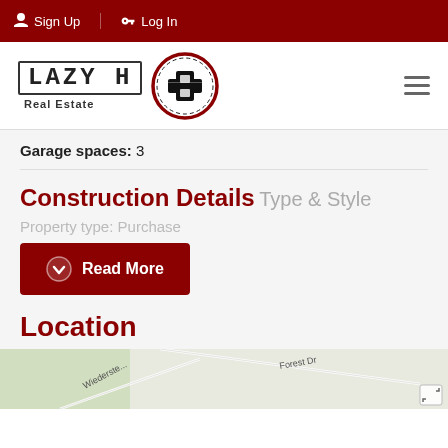Sign Up | Log In
[Figure (logo): Lazy H Real Estate logo with circular emblem]
Garage spaces: 3
Construction Details
Type & Style
Property type: Purchase
Read More
Location
[Figure (map): Street map showing Wiederste... and Forest Dr]